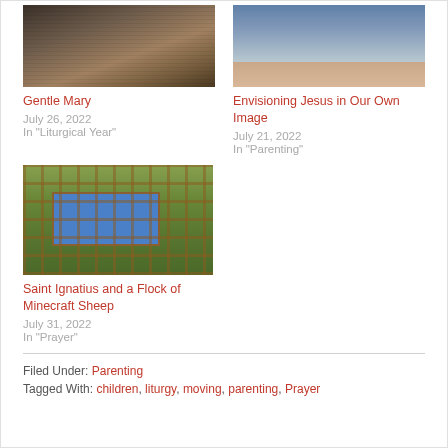[Figure (photo): Thumbnail image of Gentle Mary - grayscale engraving style illustration]
Gentle Mary
July 26, 2022
In "Liturgical Year"
[Figure (photo): Thumbnail image of Envisioning Jesus in Our Own Image - colorful indoor scene]
Envisioning Jesus in Our Own Image
July 21, 2022
In "Parenting"
[Figure (screenshot): Thumbnail image of Minecraft scene with sheep and water]
Saint Ignatius and a Flock of Minecraft Sheep
July 31, 2022
In "Prayer"
Filed Under: Parenting
Tagged With: children, liturgy, moving, parenting, Prayer